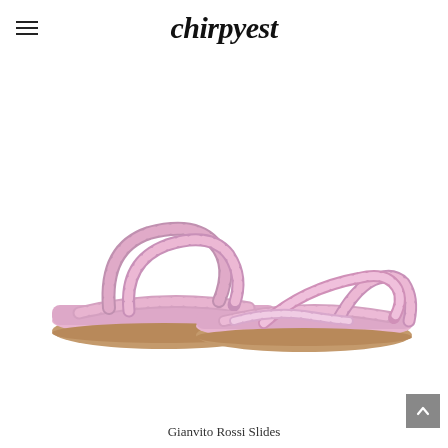chirpyest
[Figure (photo): A pair of lavender/lilac pink flat slide sandals with braided leather straps arranged in a criss-cross loop pattern on the footbed. The sandals have a thin brown sole and are displayed on a white background.]
Gianvito Rossi Slides